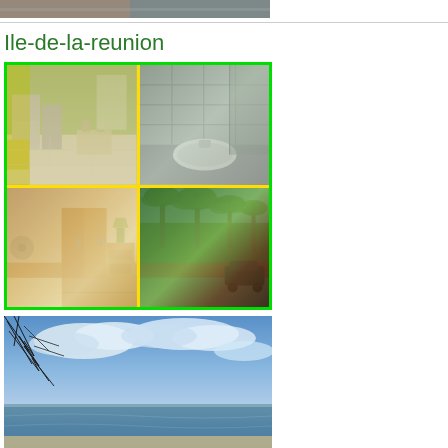[Figure (photo): Partial top photo strip, cropped at top of page]
Ile-de-la-reunion
[Figure (photo): 2x2 collage of property photos: top-left kitchen/living area with green walls, top-right bathroom with sink and shower, bottom-left bedroom with wooden furniture, bottom-right exterior with palm trees and red wall, bordered in green and yellow]
[Figure (photo): Beach/ocean scene with blue sky, clouds, tree branches in foreground, and ocean horizon]